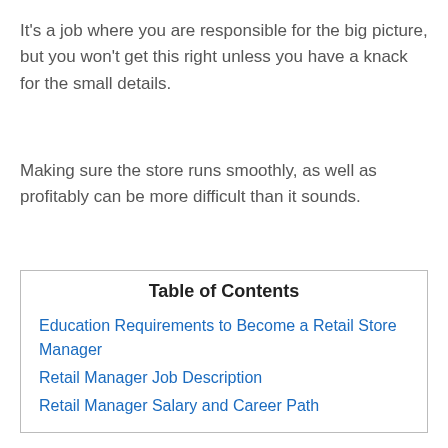It's a job where you are responsible for the big picture, but you won't get this right unless you have a knack for the small details.
Making sure the store runs smoothly, as well as profitably can be more difficult than it sounds.
| Table of Contents |
| --- |
| Education Requirements to Become a Retail Store Manager |
| Retail Manager Job Description |
| Retail Manager Salary and Career Path |